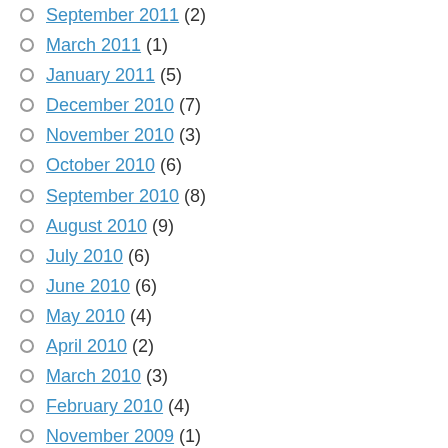September 2011 (2)
March 2011 (1)
January 2011 (5)
December 2010 (7)
November 2010 (3)
October 2010 (6)
September 2010 (8)
August 2010 (9)
July 2010 (6)
June 2010 (6)
May 2010 (4)
April 2010 (2)
March 2010 (3)
February 2010 (4)
November 2009 (1)
June 2009 (1)
April 2009 (3)
January 2009 (1)
December 2008 (2)
November 2008 (2)
August 2008 (1)
June 2008 (2)
May 2008 (2)
April 2008 (?)